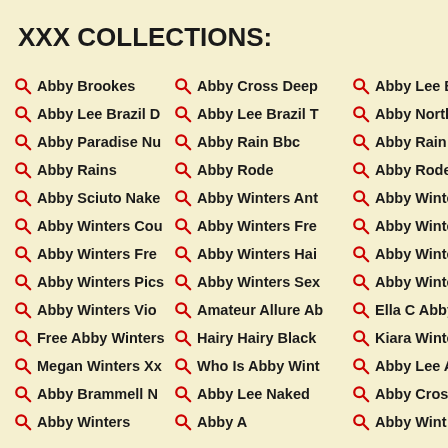XXX COLLECTIONS:
Abby Brookes
Abby Cross Deep
Abby Lee Brazil A
Abby Lee Brazil D
Abby Lee Brazil T
Abby North Porn
Abby Paradise Nu
Abby Rain Bbc
Abby Rain Porn
Abby Rains
Abby Rode
Abby Rode Porn
Abby Sciuto Nake
Abby Winters Ant
Abby Winters Ass
Abby Winters Cou
Abby Winters Fre
Abby Winters Fre
Abby Winters Fre
Abby Winters Hai
Abby Winters Nat
Abby Winters Pics
Abby Winters Sex
Abby Winters Thu
Abby Winters Vio
Amateur Allure Ab
Ella C Abby Winte
Free Abby Winters
Hairy Hairy Black
Kiara Winters
Megan Winters Xx
Who Is Abby Wint
Abby Lee Anal
Abby Brammell N
Abby Lee Naked
Abby Cross Pics
Abby Winters
Abby A
Abby Wint